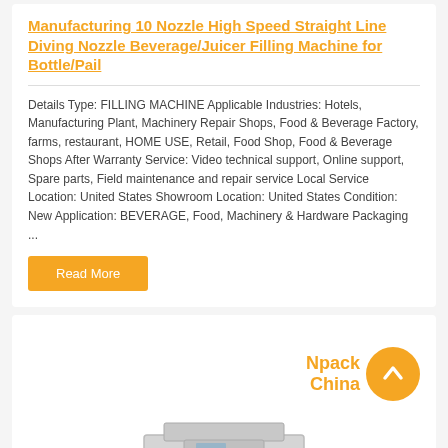Manufacturing 10 Nozzle High Speed Straight Line Diving Nozzle Beverage/Juicer Filling Machine for Bottle/Pail
Details Type: FILLING MACHINE Applicable Industries: Hotels, Manufacturing Plant, Machinery Repair Shops, Food & Beverage Factory, farms, restaurant, HOME USE, Retail, Food Shop, Food & Beverage Shops After Warranty Service: Video technical support, Online support, Spare parts, Field maintenance and repair service Local Service Location: United States Showroom Location: United States Condition: New Application: BEVERAGE, Food, Machinery & Hardware Packaging ...
Read More
[Figure (illustration): Product listing card showing 'Npack China' brand badge in orange text with an orange circle containing an up arrow, and a partial view of a filling machine at the bottom]